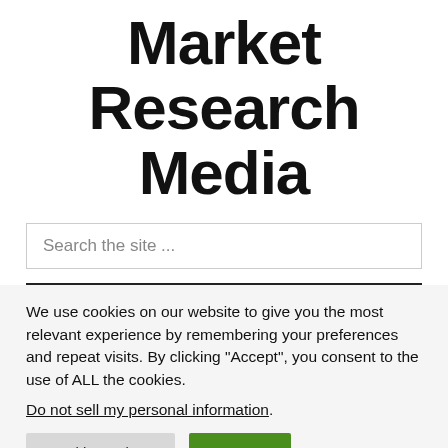Market Research Media
Search the site ...
We use cookies on our website to give you the most relevant experience by remembering your preferences and repeat visits. By clicking “Accept”, you consent to the use of ALL the cookies.
Do not sell my personal information.
Cookie Settings  Accept